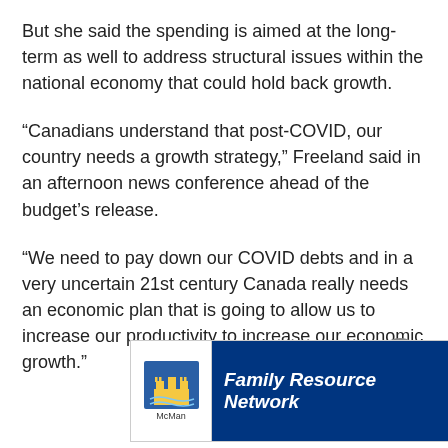But she said the spending is aimed at the long-term as well to address structural issues within the national economy that could hold back growth.
“Canadians understand that post-COVID, our country needs a growth strategy,” Freeland said in an afternoon news conference ahead of the budget’s release.
“We need to pay down our COVID debts and in a very uncertain 21st century Canada really needs an economic plan that is going to allow us to increase our productivity to increase our economic growth.”
[Figure (other): McMan Family Resource Network advertisement banner with logo on left, bold italic white text on navy blue background, and decorative images on right]